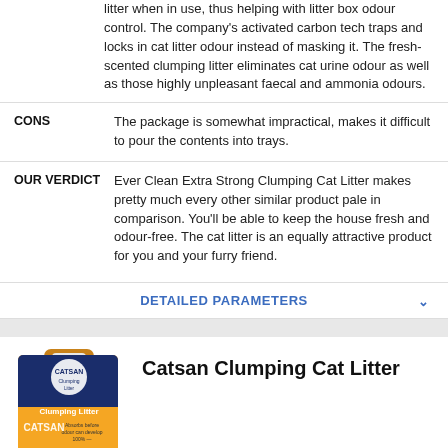litter when in use, thus helping with litter box odour control. The company's activated carbon tech traps and locks in cat litter odour instead of masking it. The fresh-scented clumping litter eliminates cat urine odour as well as those highly unpleasant faecal and ammonia odours.
CONS: The package is somewhat impractical, makes it difficult to pour the contents into trays.
OUR VERDICT: Ever Clean Extra Strong Clumping Cat Litter makes pretty much every other similar product pale in comparison. You'll be able to keep the house fresh and odour-free. The cat litter is an equally attractive product for you and your furry friend.
DETAILED PARAMETERS
[Figure (photo): Catsan Clumping Cat Litter product image - orange and dark blue bag, 5L, showing clumping litter branding]
Catsan Clumping Cat Litter